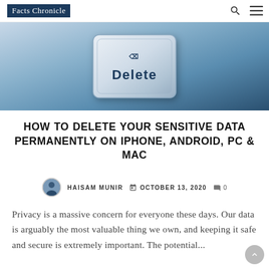Facts Chronicle
[Figure (photo): Close-up of a keyboard key labeled 'Delete' in dark teal text on a light blue/grey gradient background]
HOW TO DELETE YOUR SENSITIVE DATA PERMANENTLY ON IPHONE, ANDROID, PC & MAC
HAISAM MUNIR   OCTOBER 13, 2020   0
Privacy is a massive concern for everyone these days. Our data is arguably the most valuable thing we own, and keeping it safe and secure is extremely important. The potential...